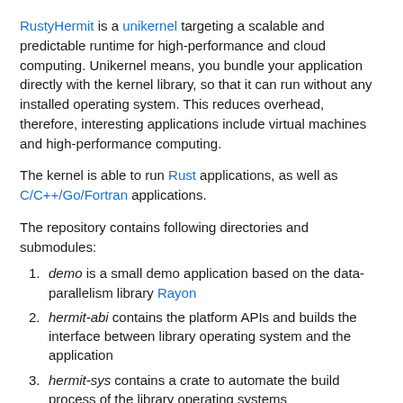RustyHermit is a unikernel targeting a scalable and predictable runtime for high-performance and cloud computing. Unikernel means, you bundle your application directly with the kernel library, so that it can run without any installed operating system. This reduces overhead, therefore, interesting applications include virtual machines and high-performance computing.
The kernel is able to run Rust applications, as well as C/C++/Go/Fortran applications.
The repository contains following directories and submodules:
demo is a small demo application based on the data-parallelism library Rayon
hermit-abi contains the platform APIs and builds the interface between library operating system and the application
hermit-sys contains a crate to automate the build process of the library operating systems
libhermit-rs is the kernel itself
netbench provides some basic network benchmarks